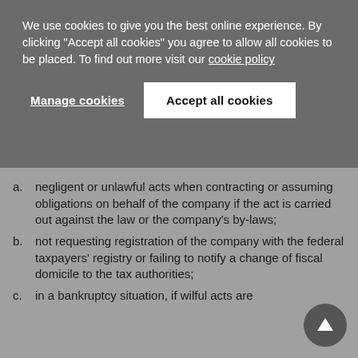We use cookies to give you the best online experience. By clicking "Accept all cookies" you agree to allow all cookies to be placed. To find out more visit our cookie policy
Manage cookies
Accept all cookies
a. negligent or unlawful acts when contracting or assuming obligations on behalf of the company if the act is carried out against the law or the company's by-laws;
b. not requesting registration of the company with the federal taxpayers' registry or failing to notify a change of fiscal domicile to the tax authorities;
c. in a bankruptcy situation, if wilful acts are